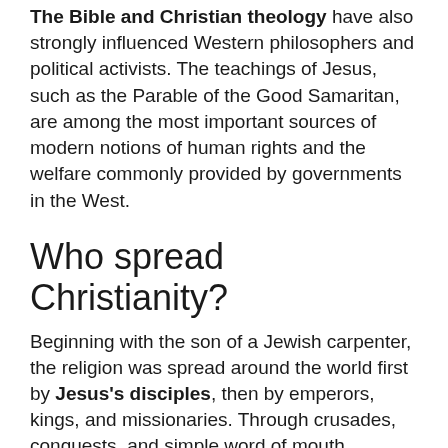The Bible and Christian theology have also strongly influenced Western philosophers and political activists. The teachings of Jesus, such as the Parable of the Good Samaritan, are among the most important sources of modern notions of human rights and the welfare commonly provided by governments in the West.
Who spread Christianity?
Beginning with the son of a Jewish carpenter, the religion was spread around the world first by Jesus's disciples, then by emperors, kings, and missionaries. Through crusades, conquests, and simple word of mouth, Christianity has had a profound influence on the last 2,000 years of world history.